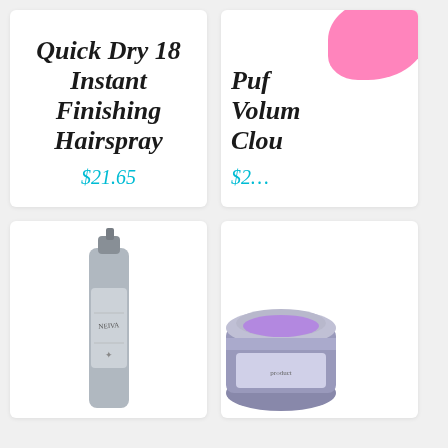Quick Dry 18 Instant Finishing Hairspray
$21.65
[Figure (photo): Partial view of a product with pink packaging, partially cropped on the right side. Product name partially visible: 'Puff... Volum... Clou...']
$2...
[Figure (photo): A sleek silver/grey hairspray bottle with label, partially visible, bottom portion shown]
[Figure (photo): A silver and purple cosmetic jar with lid partially open, partially cropped, bottom-right card]